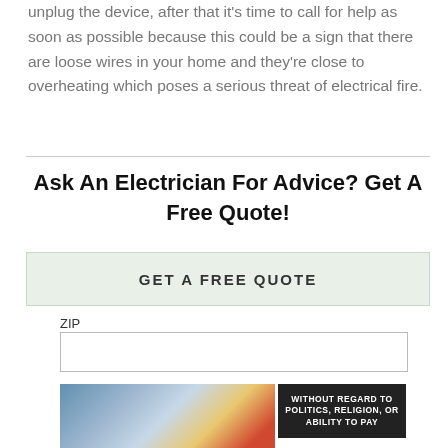unplug the device, after that it’s time to call for help as soon as possible because this could be a sign that there are loose wires in your home and they’re close to overheating which poses a serious threat of electrical fire.
Ask An Electrician For Advice? Get A Free Quote!
GET A FREE QUOTE
ZIP
[Figure (photo): Advertisement banner showing an airplane being loaded with cargo. Overlay text reads: WITHOUT REGARD TO POLITICS, RELIGION, OR ABILITY TO PAY]
WITHOUT REGARD TO POLITICS, RELIGION, OR ABILITY TO PAY